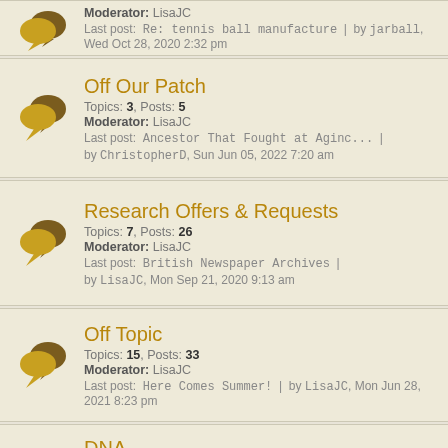Moderator: LisaJC | Last post: Re: tennis ball manufacture | by jarball, Wed Oct 28, 2020 2:32 pm
Off Our Patch
Topics: 3, Posts: 5
Moderator: LisaJC
Last post: Ancestor That Fought at Aginc... | by ChristopherD, Sun Jun 05, 2022 7:20 am
Research Offers & Requests
Topics: 7, Posts: 26
Moderator: LisaJC
Last post: British Newspaper Archives | by LisaJC, Mon Sep 21, 2020 9:13 am
Off Topic
Topics: 15, Posts: 33
Moderator: LisaJC
Last post: Here Comes Summer! | by LisaJC, Mon Jun 28, 2021 8:23 pm
DNA
Topics: 1, Posts: 3
Moderator: LisaJC
Last post: Re: DNA Painter | by Nick Grain, Thu Jun 25, 2020 8:43 pm